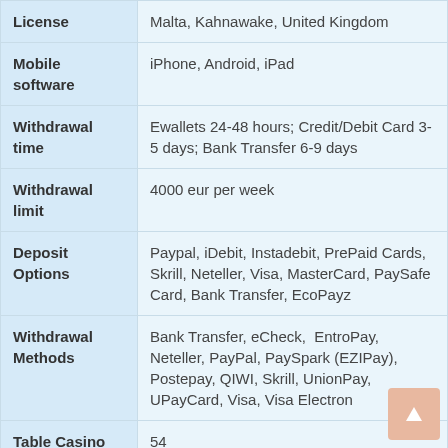| Field | Value |
| --- | --- |
| License | Malta, Kahnawake, United Kingdom |
| Mobile software | iPhone, Android, iPad |
| Withdrawal time | Ewallets 24-48 hours; Credit/Debit Card 3-5 days; Bank Transfer 6-9 days |
| Withdrawal limit | 4000 eur per week |
| Deposit Options | Paypal, iDebit, Instadebit, PrePaid Cards, Skrill, Neteller, Visa, MasterCard, PaySafe Card, Bank Transfer, EcoPayz |
| Withdrawal Methods | Bank Transfer, eCheck, EntroPay, Neteller, PayPal, PaySpark (EZIPay), Postepay, QIWI, Skrill, UnionPay, UPayCard, Visa, Visa Electron |
| Table Casino Games | 54 |